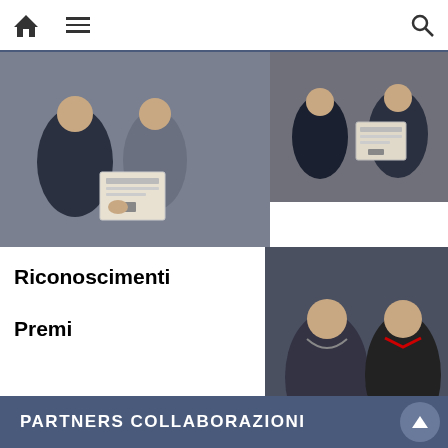Navigation bar with home, menu, and search icons
[Figure (photo): Two people shaking hands, one holding a certificate/attestato, indoor setting with dark background (left top photo)]
[Figure (photo): Two people, one receiving a certificate from another, indoor setting (right top photo)]
Riconoscimenti
Premi
[Figure (photo): Two men shaking hands, one presenting a wooden award/plaque, indoor setting with dark background (right large photo)]
Conferiti i riconoscimenti con la consegna degli attestati ai partecipanti al Workshop del 5 Maggio 2019
PARTNERS COLLABORAZIONI